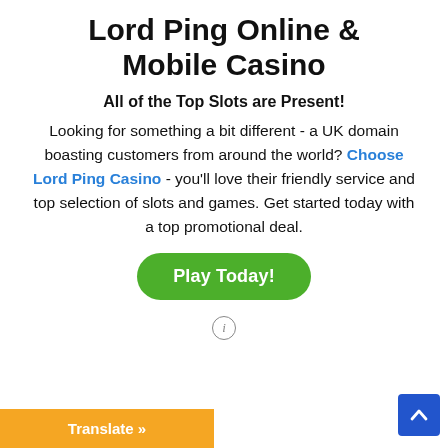Lord Ping Online & Mobile Casino
All of the Top Slots are Present!
Looking for something a bit different - a UK domain boasting customers from around the world? Choose Lord Ping Casino - you'll love their friendly service and top selection of slots and games. Get started today with a top promotional deal.
Play Today!
[Figure (other): Info icon circle with letter i]
Translate »